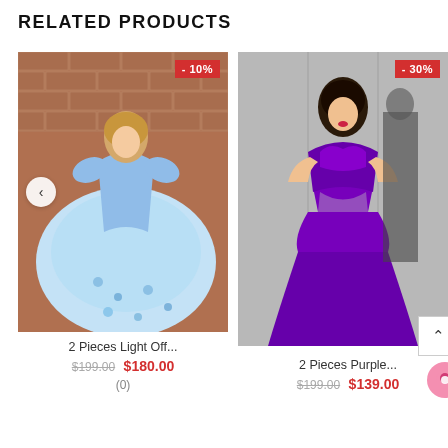RELATED PRODUCTS
[Figure (photo): Blue off-shoulder ball gown with floral appliques, model posing in front of brick wall, -10% badge top right, left navigation arrow]
2 Pieces Light Off...
$199.00  $180.00
(0)
[Figure (photo): Purple mermaid gown with cutout waist, model posing, -30% badge top right, Reviews tab on right side, scroll-to-top button bottom right]
2 Pieces Purple...
$199.00  $139.00